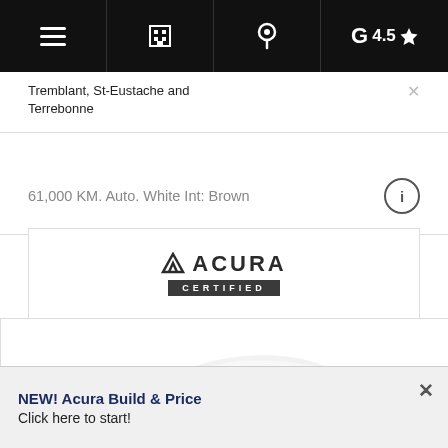Navigation bar with menu, building, location, and Google 4.5 star rating icons
Tremblant, St-Eustache and Terrebonne
61,000 KM. Auto. White Int: Brown
[Figure (logo): Acura Certified logo with Acura triangle symbol and 'ACURA' text above a dark bar reading 'CERTIFIED']
[Figure (photo): Light gray silhouette of a sedan car (appears to be an Acura) visible at bottom of the section]
NEW! Acura Build & Price
Click here to start!